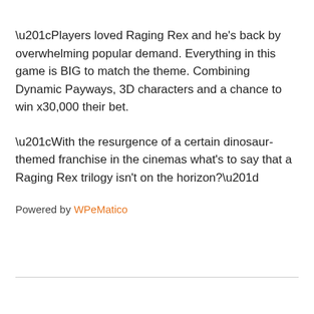“Players loved Raging Rex and he’s back by overwhelming popular demand. Everything in this game is BIG to match the theme. Combining Dynamic Payways, 3D characters and a chance to win x30,000 their bet.
“With the resurgence of a certain dinosaur-themed franchise in the cinemas what’s to say that a Raging Rex trilogy isn’t on the horizon?”
Powered by WPeMatico